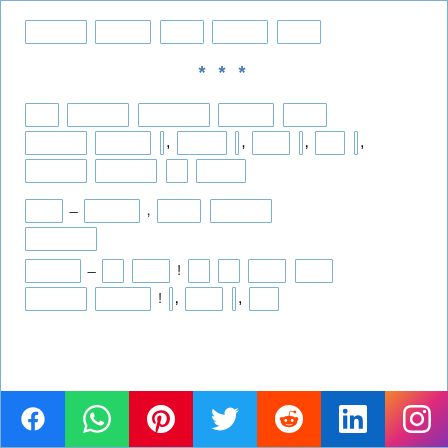[REDACTED TITLE]
* * *
[Redacted paragraph text line 1] [Redacted paragraph text line 2 with commas] [Redacted paragraph text line 3]
[Redacted] – [Redacted], [Redacted text] [Redacted] – [Redacted]! [Redacted text] [Redacted]!, [Redacted], [Redacted]